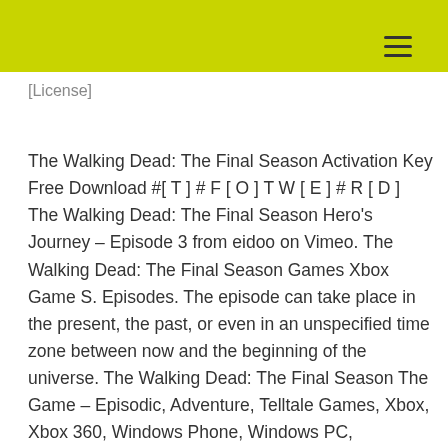[License]
The Walking Dead: The Final Season Activation Key Free Download #[ T ] # F [ O ] T W [ E ] # R [ D ] The Walking Dead: The Final Season Hero's Journey – Episode 3 from eidoo on Vimeo. The Walking Dead: The Final Season Games Xbox Game S. Episodes. The episode can take place in the present, the past, or even in an unspecified time zone between now and the beginning of the universe. The Walking Dead: The Final Season The Game – Episodic, Adventure, Telltale Games, Xbox, Xbox 360, Windows Phone, Windows PC, PlayStation, Apple TV, Wii U, Touch, Nook, Playbook, Sphero, PlayStation 4, Android, Nintendo DS, DSi, iPhone, iPad, iPod, Kindle Fire, Mac, Ma. The Walking Dead: The Final Season – Free Download PC Game. The Walking Dead: The Final